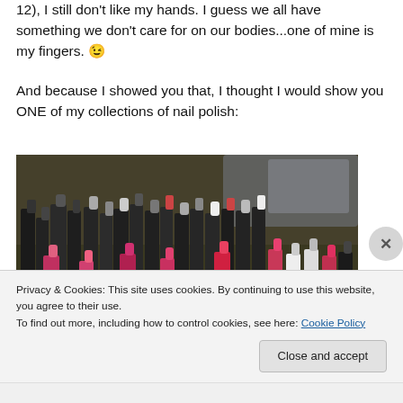12), I still don't like my hands. I guess we all have something we don't care for on our bodies...one of mine is my fingers. 😉
And because I showed you that, I thought I would show you ONE of my collections of nail polish:
[Figure (photo): Photo of a large collection of nail polish bottles in various colors, viewed from above/side, with dark background]
Privacy & Cookies: This site uses cookies. By continuing to use this website, you agree to their use.
To find out more, including how to control cookies, see here: Cookie Policy
Close and accept